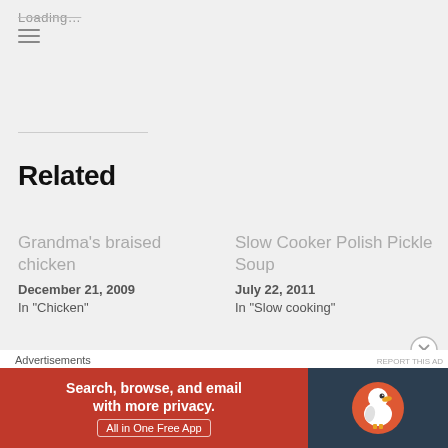Loading...
Related
Grandma’s braised chicken
December 21, 2009
In "Chicken"
Slow Cooker Polish Pickle Soup
July 22, 2011
In "Slow cooking"
Slow Cooker Succulent Turkey Breast
September 10, 2012
[Figure (screenshot): DuckDuckGo advertisement banner: 'Search, browse, and email with more privacy. All in One Free App' with DuckDuckGo duck logo on dark background.]